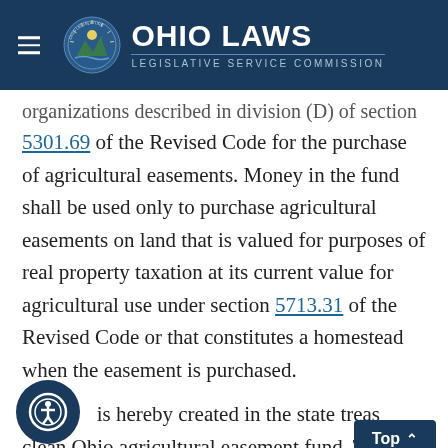Ohio Laws — Legislative Service Commission
organizations described in division (D) of section 5301.69 of the Revised Code for the purchase of agricultural easements. Money in the fund shall be used only to purchase agricultural easements on land that is valued for purposes of real property taxation at its current value for agricultural use under section 5713.31 of the Revised Code or that constitutes a homestead when the easement is purchased.
(G) There is hereby created in the state treasury the clean Ohio agricultural easement fund. Twelve and